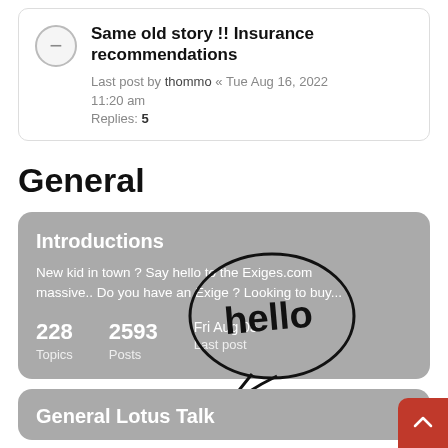Same old story !! Insurance recommendations — Last post by thommo « Tue Aug 16, 2022 11:20 am — Replies: 5
General
Introductions — New kid in town ? Say hello to the Exiges.com massive.. Do you have an Exige ? Looking to buy... — 228 Topics — 2593 Posts — Fri Aug 05 Last post
General Lotus Talk